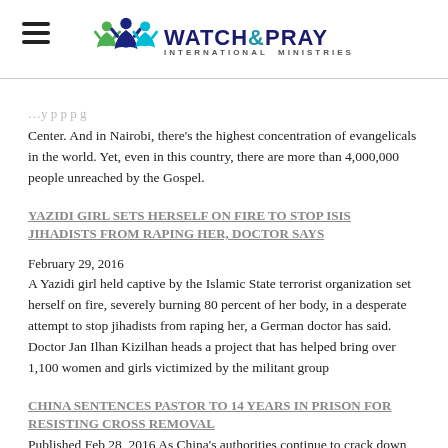Watch & Pray International Ministries
Center. And in Nairobi, there's the highest concentration of evangelicals in the world. Yet, even in this country, there are more than 4,000,000 people unreached by the Gospel.
YAZIDI GIRL SETS HERSELF ON FIRE TO STOP ISIS JIHADISTS FROM RAPING HER, DOCTOR SAYS
February 29, 2016
A Yazidi girl held captive by the Islamic State terrorist organization set herself on fire, severely burning 80 percent of her body, in a desperate attempt to stop jihadists from raping her, a German doctor has said. Doctor Jan Ilhan Kizilhan heads a project that has helped bring over 1,100 women and girls victimized by the militant group
CHINA SENTENCES PASTOR TO 14 YEARS IN PRISON FOR RESISTING CROSS REMOVAL
Published Feb 28, 2016 As China's authorities continue to crack down on Christian churches in the Zhejiang province, a court has sentenced a Protestant pastor to 14 years in prison and his wife to 12 years in prison,